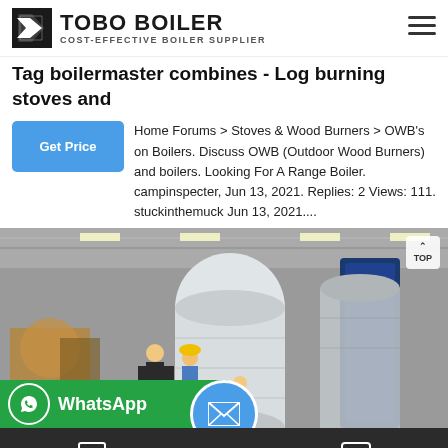TOBO BOILER - COST-EFFECTIVE BOILER SUPPLIER
Tag boilermaster combines - Log burning stoves and
Home Forums > Stoves & Wood Burners > OWB's on Boilers. Discuss OWB (Outdoor Wood Burners) and boilers. Looking For A Range Boiler. campinspecter, Jun 13, 2021. Replies: 2 Views: 111. stuckinthemuck Jun 13, 2021....
[Figure (photo): Factory warehouse showing industrial boilers wrapped in protective covering, with workers in hard hats visible. A white cylindrical boiler and a blue vertical boiler are prominent. A WhatsApp contact bar overlay is at the bottom left.]
Send Message | Inquiry Online